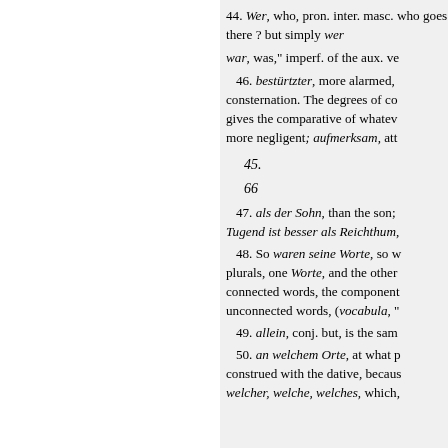44. Wer, who, pron. inter. masc. who goes there ? but simply wer
war, was," imperf. of the aux. ve
46. bestürtzter, more alarmed, consternation. The degrees of co gives the comparative of whatev more negligent; aufmerksam, att
45.
66
47. als der Sohn, than the son; Tugend ist besser als Reichthum,
48. So waren seine Worte, so w plurals, one Worte, and the other connected words, the component unconnected words, (vocabula, "
49. allein, conj. but, is the sam
50. an welchem Orte, at what p construed with the dative, becaus welcher, welche, welches, which,